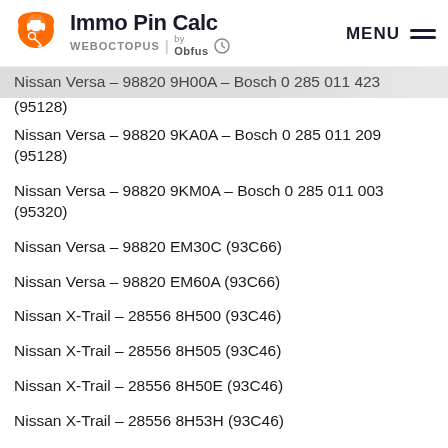Immo Pin Calc | WEBOCTOPUS by Obfus | MENU
Nissan Versa – 98820 9H00A – Bosch 0 285 011 423 (95128)
Nissan Versa – 98820 9KA0A – Bosch 0 285 011 209 (95128)
Nissan Versa – 98820 9KM0A – Bosch 0 285 011 003 (95320)
Nissan Versa – 98820 EM30C (93C66)
Nissan Versa – 98820 EM60A (93C66)
Nissan X-Trail – 28556 8H500 (93C46)
Nissan X-Trail – 28556 8H505 (93C46)
Nissan X-Trail – 28556 8H50E (93C46)
Nissan X-Trail – 28556 8H53H (93C46)
Nissan X-Trail – 28556 VW000 (93C46)
Nissan X-Trail – 98820 4BF0A (XC2336)
Nissan X-Trail – 98820 8H405 (93C56)
Nissan X-Trail – 98820 8H40E (93C56)
Nissan X-Trail – 98820 9H600 (93C56)